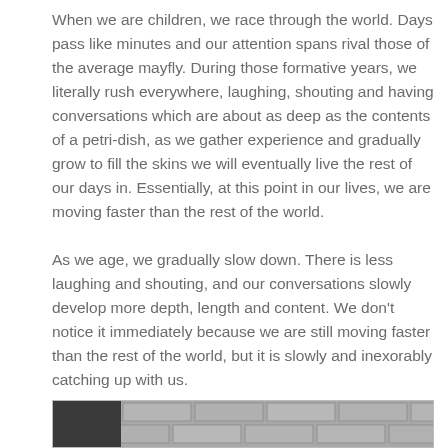When we are children, we race through the world. Days pass like minutes and our attention spans rival those of the average mayfly. During those formative years, we literally rush everywhere, laughing, shouting and having conversations which are about as deep as the contents of a petri-dish, as we gather experience and gradually grow to fill the skins we will eventually live the rest of our days in. Essentially, at this point in our lives, we are moving faster than the rest of the world.
As we age, we gradually slow down. There is less laughing and shouting, and our conversations slowly develop more depth, length and content. We don't notice it immediately because we are still moving faster than the rest of the world, but it is slowly and inexorably catching up with us.
[Figure (photo): Partial black and white photograph showing a dark object on the left and a brick wall on the right, cropped at the bottom of the page.]